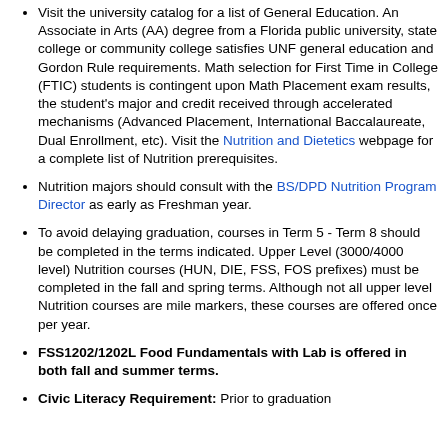Visit the university catalog for a list of General Education. An Associate in Arts (AA) degree from a Florida public university, state college or community college satisfies UNF general education and Gordon Rule requirements. Math selection for First Time in College (FTIC) students is contingent upon Math Placement exam results, the student's major and credit received through accelerated mechanisms (Advanced Placement, International Baccalaureate, Dual Enrollment, etc). Visit the Nutrition and Dietetics webpage for a complete list of Nutrition prerequisites.
Nutrition majors should consult with the BS/DPD Nutrition Program Director as early as Freshman year.
To avoid delaying graduation, courses in Term 5 - Term 8 should be completed in the terms indicated. Upper Level (3000/4000 level) Nutrition courses (HUN, DIE, FSS, FOS prefixes) must be completed in the fall and spring terms. Although not all upper level Nutrition courses are mile markers, these courses are offered once per year.
FSS1202/1202L Food Fundamentals with Lab is offered in both fall and summer terms.
Civic Literacy Requirement: Prior to graduation